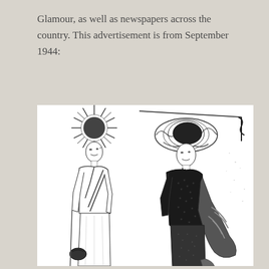Glamour, as well as newspapers across the country. This advertisement is from September 1944:
[Figure (illustration): A vintage black and white fashion illustration from September 1944 showing two women in 1940s style clothing and hats. The woman on the left wears a light-colored suit jacket with a pom-pom hat and carries a handbag. The woman on the right wears a dark suit with a large decorative hat and carries a fur stole.]